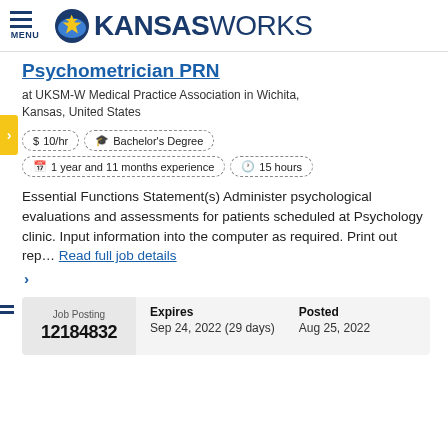[Figure (logo): KansasWorks logo with circular star emblem and MENU icon]
Psychometrician PRN
at UKSM-W Medical Practice Association in Wichita, Kansas, United States
$ 10/hr   🎓 Bachelor's Degree   📅 1 year and 11 months experience   🕐 15 hours
Essential Functions Statement(s) Administer psychological evaluations and assessments for patients scheduled at Psychology clinic. Input information into the computer as required. Print out rep… Read full job details
| Job Posting | Expires | Posted |
| --- | --- | --- |
| 12184832 | Sep 24, 2022 (29 days) | Aug 25, 2022 |